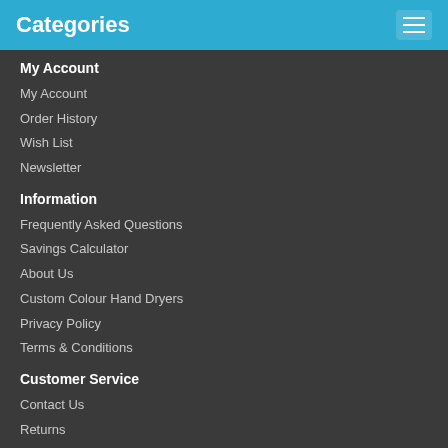Categories
My Account
My Account
Order History
Wish List
Newsletter
Information
Frequently Asked Questions
Savings Calculator
About Us
Custom Colour Hand Dryers
Privacy Policy
Terms & Conditions
Customer Service
Contact Us
Returns
Site Map
[Figure (illustration): Facebook and LinkedIn social media icons]